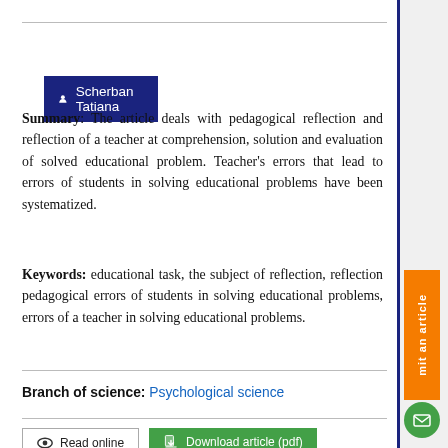Scherban Tatiana
Summary: The article deals with pedagogical reflection and reflection of a teacher at comprehension, solution and evaluation of solved educational problem. Teacher's errors that lead to errors of students in solving educational problems have been systematized.
Keywords: educational task, the subject of reflection, reflection pedagogical errors of students in solving educational problems, errors of a teacher in solving educational problems.
Branch of science: Psychological science